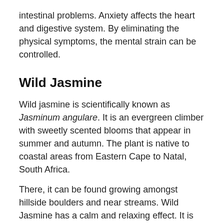intestinal problems. Anxiety affects the heart and digestive system. By eliminating the physical symptoms, the mental strain can be controlled.
Wild Jasmine
Wild jasmine is scientifically known as Jasminum angulare. It is an evergreen climber with sweetly scented blooms that appear in summer and autumn. The plant is native to coastal areas from Eastern Cape to Natal, South Africa.
There, it can be found growing amongst hillside boulders and near streams. Wild Jasmine has a calm and relaxing effect. It is used to treat headaches, anxiety, irritability and depression. The relaxing property of Wild Jasmine provides relief from fatigue and stress.
Jasminum subtriplinerve